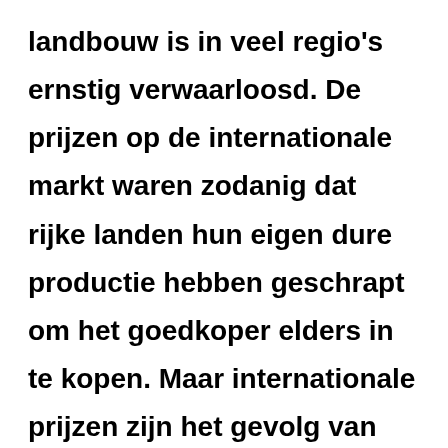landbouw is in veel regio's ernstig verwaarloosd. De prijzen op de internationale markt waren zodanig dat rijke landen hun eigen dure productie hebben geschrapt om het goedkoper elders in te kopen. Maar internationale prijzen zijn het gevolg van vraag en aanbod, en in het verleden behaalde resultaten geven geen garantie voor de